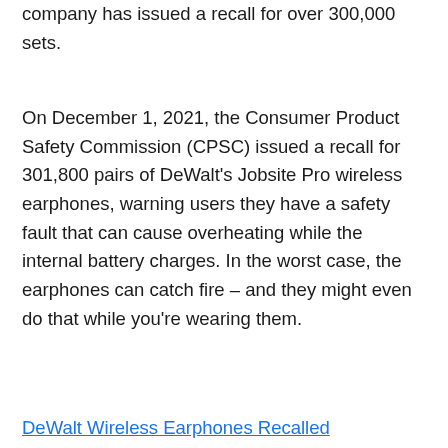company has issued a recall for over 300,000 sets.
On December 1, 2021, the Consumer Product Safety Commission (CPSC) issued a recall for 301,800 pairs of DeWalt's Jobsite Pro wireless earphones, warning users they have a safety fault that can cause overheating while the internal battery charges. In the worst case, the earphones can catch fire – and they might even do that while you're wearing them.
DeWalt Wireless Earphones Recalled